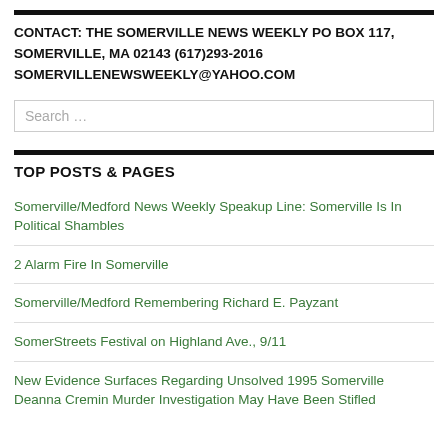CONTACT: THE SOMERVILLE NEWS WEEKLY PO BOX 117, SOMERVILLE, MA 02143 (617)293-2016 SOMERVILLENEWSWEEKLY@YAHOO.COM
TOP POSTS & PAGES
Somerville/Medford News Weekly Speakup Line: Somerville Is In Political Shambles
2 Alarm Fire In Somerville
Somerville/Medford Remembering Richard E. Payzant
SomerStreets Festival on Highland Ave., 9/11
New Evidence Surfaces Regarding Unsolved 1995 Somerville Deanna Cremin Murder Investigation May Have Been Stifled